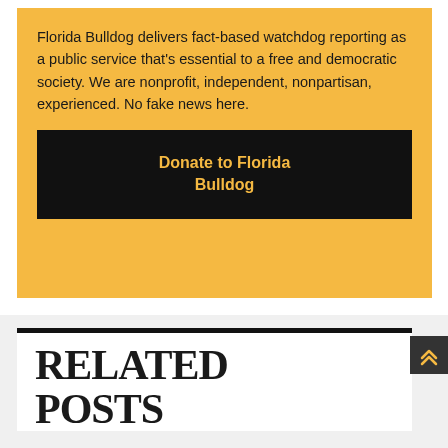Florida Bulldog delivers fact-based watchdog reporting as a public service that's essential to a free and democratic society. We are nonprofit, independent, nonpartisan, experienced. No fake news here.
Donate to Florida Bulldog
RELATED POSTS